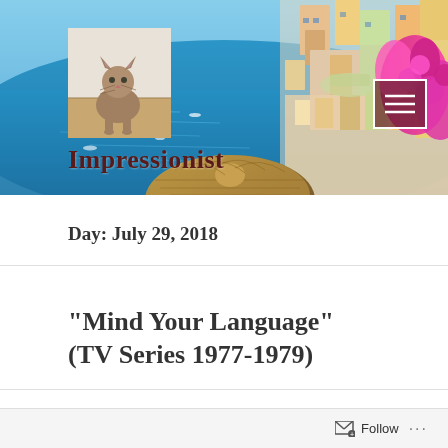[Figure (photo): Blog header banner showing coastal Italian town (Positano) with colorful buildings on cliffs and pink flowers, overlaid with a cat photo in the upper left and a menu icon in the upper right. Blog title 'Impressionist' in dark red serif font.]
Impressionist
Day: July 29, 2018
“Mind Your Language” (TV Series 1977-1979)
Follow